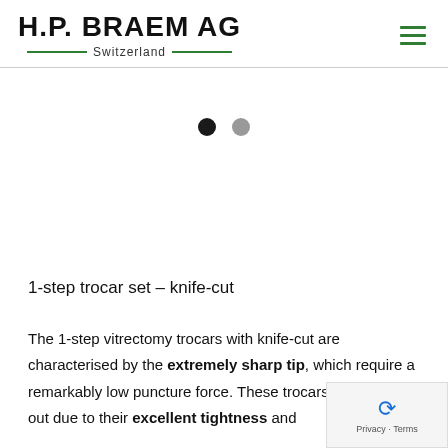H.P. BRAEM AG Switzerland
[Figure (other): Carousel navigation dots: one black dot (active) and one gray dot (inactive)]
1-step trocar set – knife-cut
The 1-step vitrectomy trocars with knife-cut are characterised by the extremely sharp tip, which require a remarkably low puncture force. These trocars also stand out due to their excellent tightness and